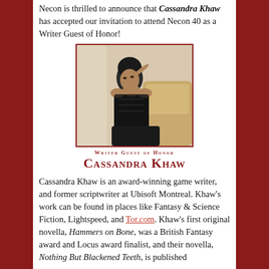Necon is thrilled to announce that Cassandra Khaw has accepted our invitation to attend Necon 40 as a Writer Guest of Honor!
[Figure (photo): Portrait photo of Cassandra Khaw sitting on a couch, wearing a black lace corset, looking to the side with one hand raised near her face. Red border frame around the photo.]
Writer Guest of Honor
Cassandra Khaw
Cassandra Khaw is an award-winning game writer, and former scriptwriter at Ubisoft Montreal. Khaw's work can be found in places like Fantasy & Science Fiction, Lightspeed, and Tor.com. Khaw's first original novella, Hammers on Bone, was a British Fantasy award and Locus award finalist, and their novella, Nothing But Blackened Teeth, is published